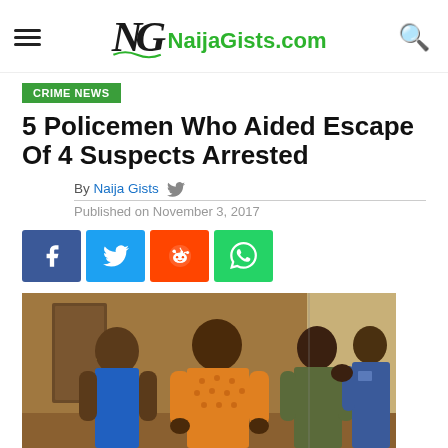NaijaGists.com
CRIME NEWS
5 Policemen Who Aided Escape Of 4 Suspects Arrested
By Naija Gists
Published on November 3, 2017
[Figure (other): Social share buttons: Facebook, Twitter, Reddit, WhatsApp]
[Figure (photo): Photo showing arrested suspects standing with backs to camera, with police officer in blue uniform visible on the right]